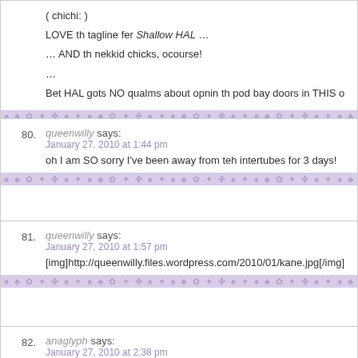( chichi: )

LOVE th tagline fer Shallow HAL …

… AND th nekkid chicks, ocourse!

…

Bet HAL gots NO qualms about opnin th pod bay doors in THIS o
80. queenwilly says:
January 27, 2010 at 1:44 pm
oh I am SO sorry I've been away from teh intertubes for 3 days!
81. queenwilly says:
January 27, 2010 at 1:57 pm
[img]http://queenwilly.files.wordpress.com/2010/01/kane.jpg[/img]
82. anaglyph says:
January 27, 2010 at 2:38 pm